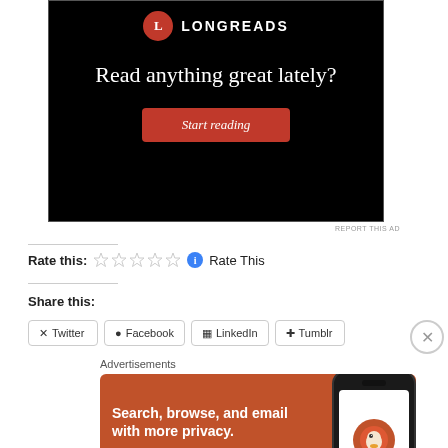[Figure (illustration): Longreads advertisement banner on black background with logo, tagline 'Read anything great lately?' and red 'Start reading' button]
REPORT THIS AD
Rate this:
Rate This
Share this:
Advertisements
[Figure (illustration): DuckDuckGo advertisement: orange background, text 'Search, browse, and email with more privacy. All in One Free App' with phone mockup showing DuckDuckGo logo and DuckDuckGo. wordmark]